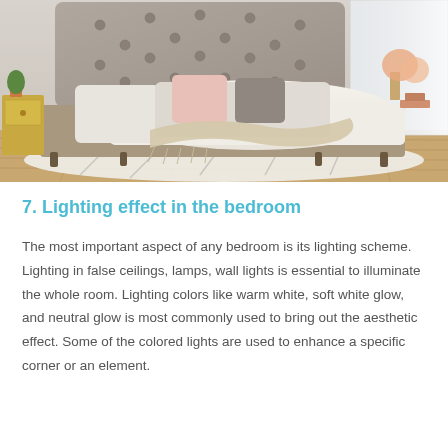[Figure (photo): A styled bedroom with a tufted grey upholstered bed featuring white and cream bedding, decorative pillows in pastel colors, a knitted throw blanket draped across the foot of the bed, set on hardwood floors with a white patterned rug. A gold side table is visible on the left, and a window provides bright light on the right.]
7. Lighting effect in the bedroom
The most important aspect of any bedroom is its lighting scheme. Lighting in false ceilings, lamps, wall lights is essential to illuminate the whole room. Lighting colors like warm white, soft white glow, and neutral glow is most commonly used to bring out the aesthetic effect. Some of the colored lights are used to enhance a specific corner or an element.